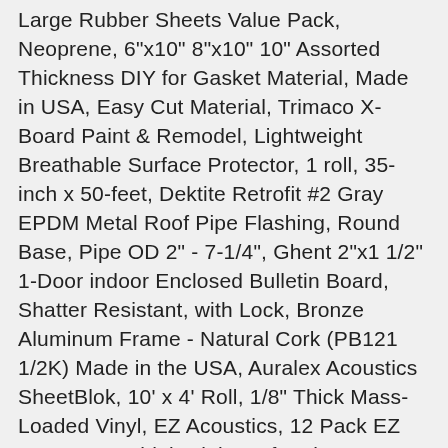Large Rubber Sheets Value Pack, Neoprene, 6"x10" 8"x10" 10" Assorted Thickness DIY for Gasket Material, Made in USA, Easy Cut Material, Trimaco X-Board Paint & Remodel, Lightweight Breathable Surface Protector, 1 roll, 35-inch x 50-feet, Dektite Retrofit #2 Gray EPDM Metal Roof Pipe Flashing, Round Base, Pipe OD 2" - 7-1/4", Ghent 2"x1 1/2" 1-Door indoor Enclosed Bulletin Board, Shatter Resistant, with Lock, Bronze Aluminum Frame - Natural Cork (PB121 1/2K) Made in the USA, Auralex Acoustics SheetBlok, 10' x 4' Roll, 1/8" Thick Mass-Loaded Vinyl, EZ Acoustics, 12 Pack EZ Foam Pyramidal, High-Performing Absorption Panels (2" Thickness - Charcoal), UltraBoard Classic Peel N' Stick - 3/16" Thick Self-Stick Adhesive Polystyrene Foam Core Mount Board or Mat Backer for Photo Mounting (20 Pack) (Black, 8" x 10"), ST1 StripBoard, Uncut Strips, 1 Sided PCB, Size 1 = 50 x 80mm (1.97 x 3.15in), Acoustic Absorbing Board, Good Performance Sound-Absorption,